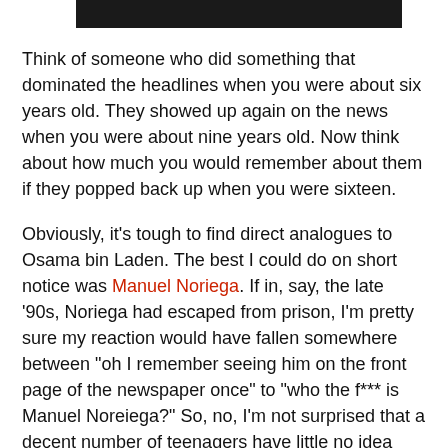[Figure (photo): Dark/black image bar at top of page, partially visible]
Think of someone who did something that dominated the headlines when you were about six years old. They showed up again on the news when you were about nine years old. Now think about how much you would remember about them if they popped back up when you were sixteen.
Obviously, it's tough to find direct analogues to Osama bin Laden. The best I could do on short notice was Manuel Noriega. If in, say, the late '90s, Noriega had escaped from prison, I'm pretty sure my reaction would have fallen somewhere between "oh I remember seeing him on the front page of the newspaper once" to "who the f*** is Manuel Noreiega?" So, no, I'm not surprised that a decent number of teenagers have little no idea who Osama bin Laden is. Most kids don't pay much attention to the news at all, and certainly not before they hit their teens, and bin Laden just hasn't been much of a force in the U.S. news since the 2004 election. Remember, Nirvana is on classic rock stations these days, so don't go griping about how the kids don't have